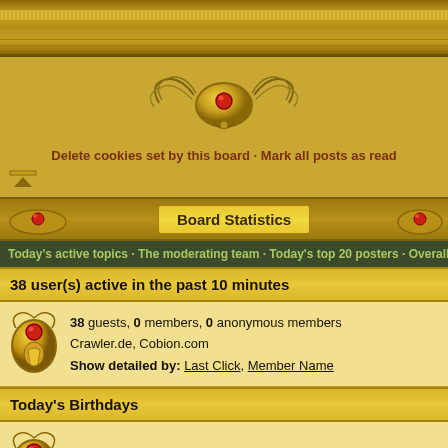[Figure (illustration): Golden decorative forum header bar with repeating pattern]
[Figure (illustration): Gold ornamental emblem with wings and red gem center]
Delete cookies set by this board · Mark all posts as read
Board Statistics
Today's active topics · The moderating team · Today's top 20 posters · Overall top 20 po
38 user(s) active in the past 10 minutes
38 guests, 0 members, 0 anonymous members
Crawler.de, Cobion.com
Show detailed by: Last Click, Member Name
Today's Birthdays
No members are celebrating a birthday today
Forthcoming Calendar Events within the next 30 days